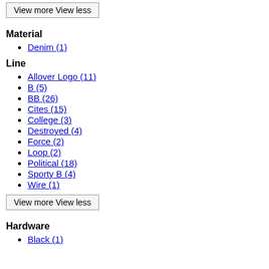View more View less (button at top)
Material
Denim (1)
Line
Allover Logo (11)
B (5)
BB (26)
Cites (15)
College (3)
Destroyed (4)
Force (2)
Loop (2)
Political (18)
Sporty B (4)
Wire (1)
View more View less
Hardware
Black (1)